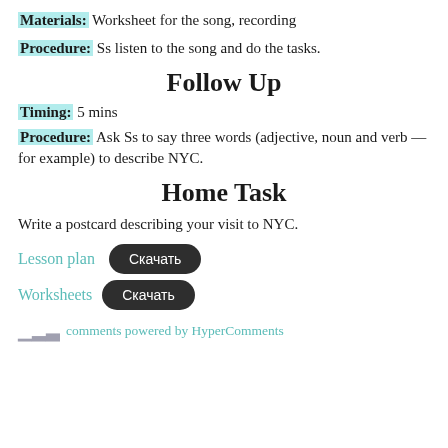Materials: Worksheet for the song, recording
Procedure: Ss listen to the song and do the tasks.
Follow Up
Timing: 5 mins
Procedure: Ask Ss to say three words (adjective, noun and verb — for example) to describe NYC.
Home Task
Write a postcard describing your visit to NYC.
Lesson plan  Скачать
Worksheets  Скачать
comments powered by HyperComments